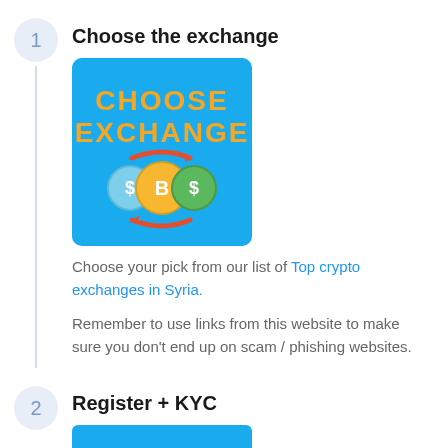1
Choose the exchange
[Figure (illustration): Blue square image with orange bold text 'CHOOSE EXCHANGE' and illustrated coins (Bitcoin, dollar coins) with red arrows circling around them]
Choose your pick from our list of Top crypto exchanges in Syria.
Remember to use links from this website to make sure you don't end up on scam / phishing websites.
2
Register + KYC